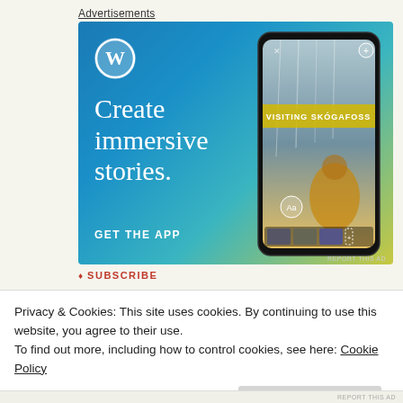Advertisements
[Figure (screenshot): WordPress.com advertisement banner with blue-to-teal-to-yellow gradient background. Shows WordPress logo (W in circle), text 'Create immersive stories.' and 'GET THE APP'. Right side shows a phone mockup displaying a waterfall photo with 'VISITING SKÓGAFOSS' overlay text.]
REPORT THIS AD
♦ SUBSCRIBE
Privacy & Cookies: This site uses cookies. By continuing to use this website, you agree to their use.
To find out more, including how to control cookies, see here: Cookie Policy
Close and accept